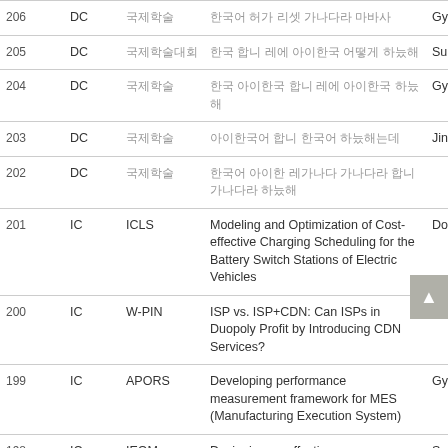| No. | Type | Conference | Title | Author |
| --- | --- | --- | --- | --- |
| 206 | DC | [Korean] | [Korean text] | Gyus... |
| 205 | DC | [Korean] | [Korean text] | Sungj... |
| 204 | DC | [Korean] | [Korean text] | Gyus... |
| 203 | DC | [Korean] | [Korean text] | Jinwu... |
| 202 | DC | [Korean] | [Korean text] | ... |
| 201 | IC | ICLS | Modeling and Optimization of Cost-effective Charging Scheduling for the Battery Switch Stations of Electric Vehicles | Dongh... |
| 200 | IC | W-PIN | ISP vs. ISP+CDN: Can ISPs in Duopoly Profit by Introducing CDN Services? | Dong... |
| 199 | IC | APORS | Developing performance measurement framework for MES (Manufacturing Execution System) | Gyus... |
| 198 | IC | IEOM | Designing an effective ... | Sumir... |